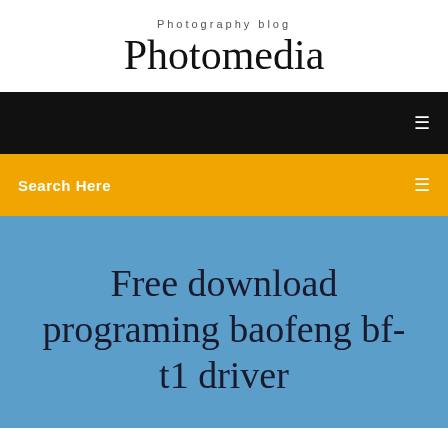Photography blog
Photomedia
[Figure (screenshot): Black navigation bar with white menu icon on the right]
[Figure (screenshot): Yellow/orange search bar with 'Search Here' label and icon on the right]
Free download programing baofeng bf-t1 driver